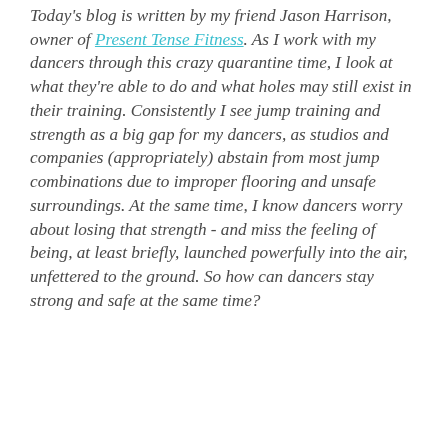Today's blog is written by my friend Jason Harrison, owner of Present Tense Fitness. As I work with my dancers through this crazy quarantine time, I look at what they're able to do and what holes may still exist in their training. Consistently I see jump training and strength as a big gap for my dancers, as studios and companies (appropriately) abstain from most jump combinations due to improper flooring and unsafe surroundings. At the same time, I know dancers worry about losing that strength - and miss the feeling of being, at least briefly, launched powerfully into the air, unfettered to the ground. So how can dancers stay strong and safe at the same time?